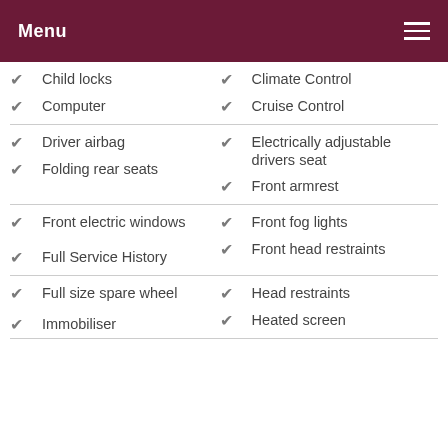Menu
Child locks
Climate Control
Computer
Cruise Control
Driver airbag
Electrically adjustable drivers seat
Folding rear seats
Front armrest
Front electric windows
Front fog lights
Front head restraints
Full Service History
Full size spare wheel
Head restraints
Heated screen
Immobiliser